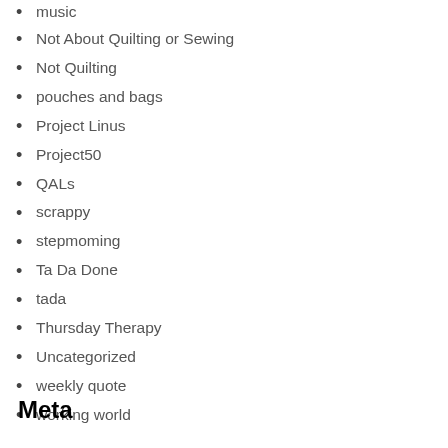music
Not About Quilting or Sewing
Not Quilting
pouches and bags
Project Linus
Project50
QALs
scrappy
stepmoming
Ta Da Done
tada
Thursday Therapy
Uncategorized
weekly quote
working world
Meta